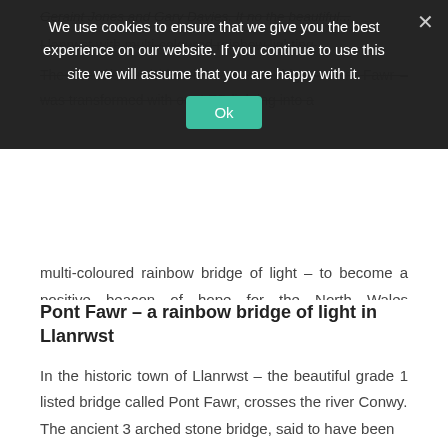Geraint Jones and Gary Davies. It no the beautiful... Llanrwst with multi-coloured rainbow lighting.
The beautiful and historic Llanrwst Bridge — Pont Fawr — was transformed with our LED lighting into a multi-coloured rainbow bridge of light — to become a positive beacon of hope for the North Wales community.
[Figure (screenshot): Cookie consent overlay banner in dark semi-transparent background with message: 'We use cookies to ensure that we give you the best experience on our website. If you continue to use this site we will assume that you are happy with it.' with an Ok button in teal/green and an X close button.]
Pont Fawr – a rainbow bridge of light in Llanrwst
In the historic town of Llanrwst – the beautiful grade 1 listed bridge called Pont Fawr, crosses the river Conwy.
The ancient 3 arched stone bridge, said to have been